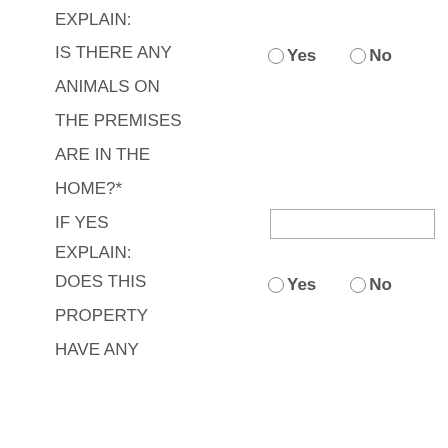EXPLAIN:
IS THERE ANY ANIMALS ON THE PREMISES ARE IN THE HOME?*
IF YES EXPLAIN:
DOES THIS PROPERTY HAVE ANY